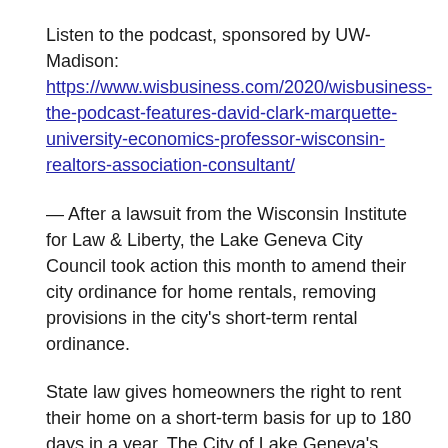Listen to the podcast, sponsored by UW-Madison: https://www.wisbusiness.com/2020/wisbusiness-the-podcast-features-david-clark-marquette-university-economics-professor-wisconsin-realtors-association-consultant/
— After a lawsuit from the Wisconsin Institute for Law & Liberty, the Lake Geneva City Council took action this month to amend their city ordinance for home rentals, removing provisions in the city's short-term rental ordinance.
State law gives homeowners the right to rent their home on a short-term basis for up to 180 days in a year. The City of Lake Geneva's ordinance requires installing a 'Knox Box' giving city officials the key to their home, open their homes to inspections from city officials, provide their guest registries and rental records and pay a $2,000 fee — the largest in the state.